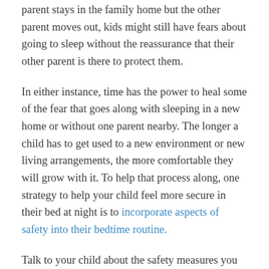parent stays in the family home but the other parent moves out, kids might still have fears about going to sleep without the reassurance that their other parent is there to protect them.
In either instance, time has the power to heal some of the fear that goes along with sleeping in a new home or without one parent nearby. The longer a child has to get used to a new environment or new living arrangements, the more comfortable they will grow with it. To help that process along, one strategy to help your child feel more secure in their bed at night is to incorporate aspects of safety into their bedtime routine.
Talk to your child about the safety measures you have in place at your home like locked doors or a security system. Before bedtime, you may have them run through the nightly routine of locking each door and